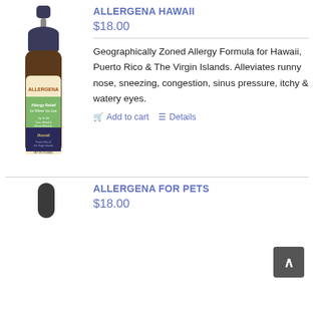[Figure (photo): Photo of Allergena Hawaii homeopathic allergy relief product bottle (amber dropper bottle with colorful label)]
ALLERGENA HAWAII
$18.00
Geographically Zoned Allergy Formula for Hawaii, Puerto Rico & The Virgin Islands. Alleviates runny nose, sneezing, congestion, sinus pressure, itchy & watery eyes.
Add to cart   Details
[Figure (photo): Partial photo of Allergena For Pets product (dark dropper cap visible)]
ALLERGENA FOR PETS
$18.00